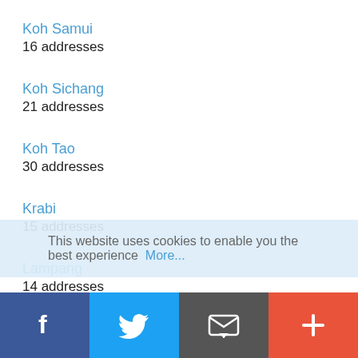Koh Samui
16 addresses
Koh Sichang
21 addresses
Koh Tao
30 addresses
Krabi
15 addresses
Lampang
14 addresses
Loei
27 addresses
Lopburi
10 addresses
This website uses cookies to enable you the best experience More...
[Figure (infographic): Social sharing bar with Facebook (blue), Twitter (light blue), Email (dark grey), and Add/Plus (red-orange) buttons]